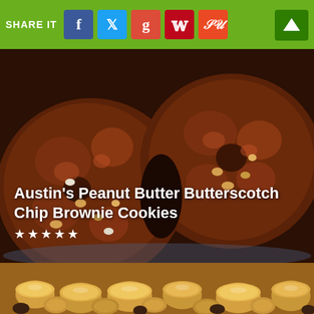SHARE IT
[Figure (photo): Close-up photo of dark chocolate brownie cookies with peanut butter and butterscotch chips on a plate]
Austin's Peanut Butter Butterscotch Chip Brownie Cookies
★ ★ ★ ★ ★
[Figure (photo): Close-up photo of peanut butter chips and peanuts on a dark surface]